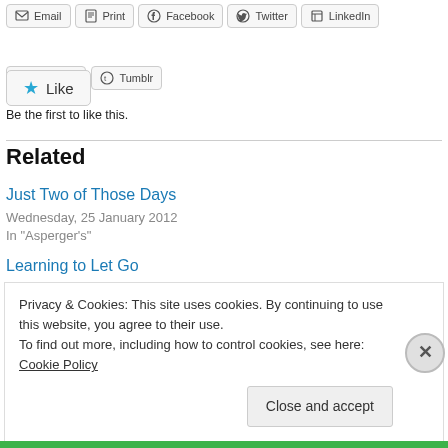[Figure (screenshot): Row of social share buttons: Email, Print, Facebook, Twitter, LinkedIn]
[Figure (screenshot): Second row of social share buttons: Pinterest, Tumblr]
[Figure (screenshot): Like button with blue star icon]
Be the first to like this.
Related
Just Two of Those Days
Wednesday, 25 January 2012
In "Asperger's"
Learning to Let Go
Privacy & Cookies: This site uses cookies. By continuing to use this website, you agree to their use.
To find out more, including how to control cookies, see here: Cookie Policy
Close and accept